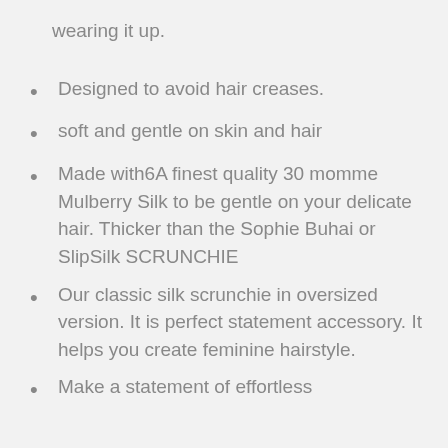wearing it up.
Designed to avoid hair creases.
soft and gentle on skin and hair
Made with6A finest quality 30 momme Mulberry Silk to be gentle on your delicate hair. Thicker than the Sophie Buhai or SlipSilk SCRUNCHIE
Our classic silk scrunchie in oversized version. It is perfect statement accessory. It helps you create feminine hairstyle.
Make a statement of effortless